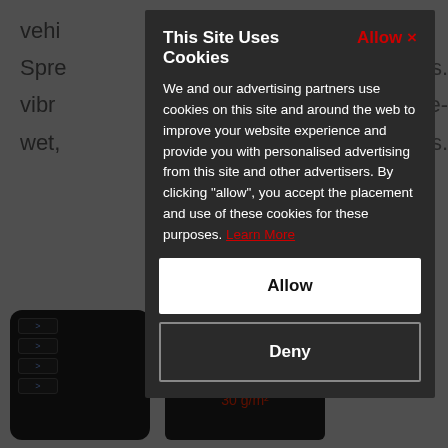vehi
Spre ... wards.
vibr ... salt, pre-
wet, di ... nts.
This Site Uses Cookies
Allow ×
We and our advertising partners use cookies on this site and around the web to improve your website experience and provide you with personalised advertising from this site and other advertisers. By clicking "allow", you accept the placement and use of these cookies for these purposes. Learn More
Allow
Deny